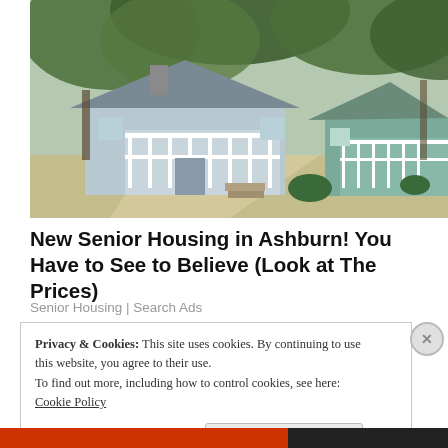[Figure (photo): Exterior photo of small single-story cottage-style senior housing homes with white railings and porches, surrounded by large trees, with a concrete driveway in the foreground.]
New Senior Housing in Ashburn! You Have to See to Believe (Look at The Prices)
Senior Housing | Search Ads
Privacy & Cookies: This site uses cookies. By continuing to use this website, you agree to their use.
To find out more, including how to control cookies, see here: Cookie Policy
Close and accept